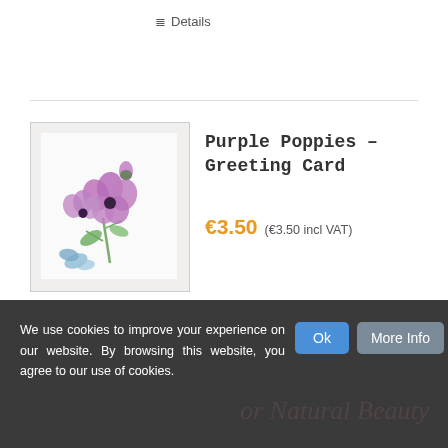≡ Details
[Figure (photo): Product photo of Purple Poppies greeting card showing watercolor purple poppies and blue flowers on white background]
Purple Poppies – Greeting Card
€3.50 (€3.50 incl VAT)
Add to cart
≡ Details
We use cookies to improve your experience on our website. By browsing this website, you agree to our use of cookies.